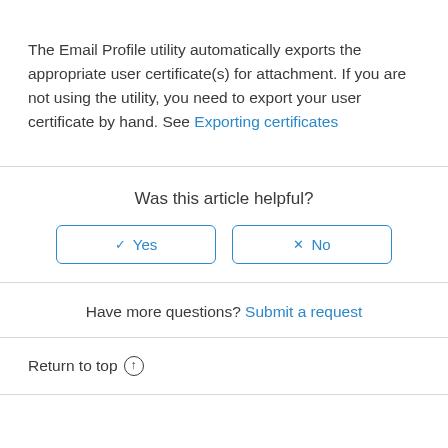The Email Profile utility automatically exports the appropriate user certificate(s) for attachment. If you are not using the utility, you need to export your user certificate by hand. See Exporting certificates
Was this article helpful?
Yes | No
Have more questions? Submit a request
Return to top